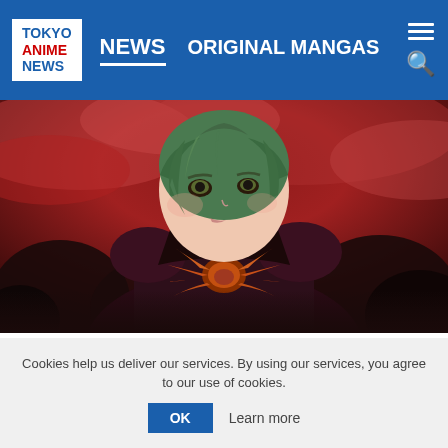TOKYO ANIME NEWS | NEWS | ORIGINAL MANGAS
[Figure (illustration): Anime character with green hair and a dark cloak featuring orange feather-like decorations on the chest, set against a red cloudy sky with dark trees in background. From The Rising of the Shield Hero Season 2.]
The Rising of the Shield Hero Season 2 - Episode 12 Review -
Cookies help us deliver our services. By using our services, you agree to our use of cookies.
OK  Learn more